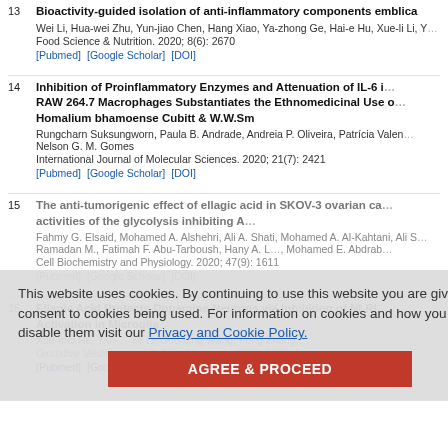13. Bioactivity-guided isolation of anti-inflammatory components emblica. Wei Li, Hua-wei Zhu, Yun-jiao Chen, Hang Xiao, Ya-zhong Ge, Hai-e Hu, Xue-li Li, Y… Food Science & Nutrition. 2020; 8(6): 2670. [Pubmed] [Google Scholar] [DOI]
14. Inhibition of Proinflammatory Enzymes and Attenuation of IL-6 i… RAW 264.7 Macrophages Substantiates the Ethnomedicinal Use o… Homalium bhamoense Cubitt & W.W.Sm. Rungcharn Suksungworn, Paula B. Andrade, Andreia P. Oliveira, Patrícia Valen… Nelson G. M. Gomes. International Journal of Molecular Sciences. 2020; 21(7): 2421. [Pubmed] [Google Scholar] [DOI]
15. The anti-tumorigenic effect of ellagic acid in SKOV-3 ovarian ca… activities of the glycolysis inhibiting A… Fahmy G. Elsaid, Mohamed A. Alshehri, Ali A. Shati, Mohamed A. Al-Kahtani, Ali S… Ramadan M., Fatimah F. Abu-Tarboush, Hany A. L…, Mohamed E. Abdrab… Cell Biochemistry and Physiology. 2020; 47(9): 1611. [Pubmed] [Google Scholar] [DOI]
16. Ellagic Acid Protects Dopamine Neurons via Inhibition of NLRI… Activation in Microglia. Xue-mei He, Yan-…-jie Li, Guo-qing Wang, Feng Zhang,… Oxidative Medicine and Cellular Longevity. 2020; 2020: 1. [Pubmed] [Google Scholar] [DOI]
This website uses cookies. By continuing to use this website you are giving consent to cookies being used. For information on cookies and how you can disable them visit our Privacy and Cookie Policy. AGREE & PROCEED